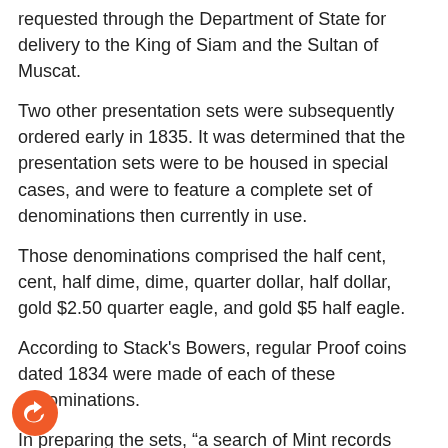requested through the Department of State for delivery to the King of Siam and the Sultan of Muscat.
Two other presentation sets were subsequently ordered early in 1835. It was determined that the presentation sets were to be housed in special cases, and were to feature a complete set of denominations then currently in use.
Those denominations comprised the half cent, cent, half dime, dime, quarter dollar, half dollar, gold $2.50 quarter eagle, and gold $5 half eagle.
According to Stack's Bowers, regular Proof coins dated 1834 were made of each of these denominations.
In preparing the sets, “a search of Mint records revealed that two other denominations were authorized, but had not been struck for many years,” according to Stack’s Bowers. “Silver dollars had been last struck in 1804 and gold eagles were last struck in 1804 as well.